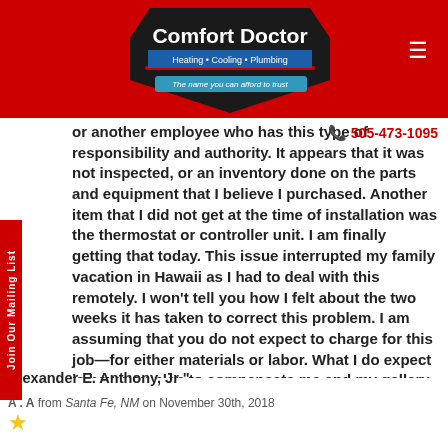Comfort Doctor – Heating • Cooling • Plumbing – The name you can afford to trust
or another employee who has this type of responsibility and authority. It appears that it was not inspected, or an inventory done on the parts and equipment that I believe I purchased. Another item that I did not get at the time of installation was the thermostat or controller unit. I am finally getting that today. This issue interrupted my family vacation in Hawaii as I had to deal with this remotely. I won't tell you how I felt about the two weeks it has taken to correct this problem. I am assuming that you do not expect to charge for this job—for either materials or labor. What I do expect is how you plan to compensate me and my gallery staff for my inconvenience. Alexander E. Anthony, Jr "
A . A from Santa Fe, NM on November 30th, 2018
[Figure (other): One gold star rating]